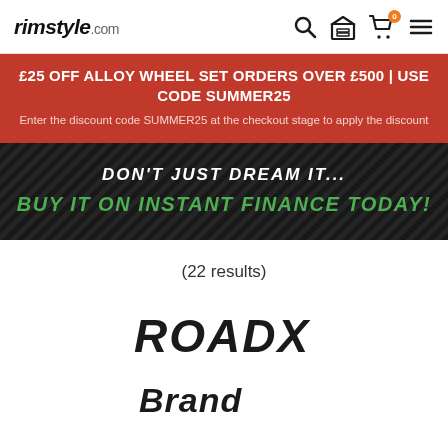rimstyle.com
£25 OFF ALLOY WHEEL SET ORDERS OVER £500 | USE CODE SUMMER25
Enter the discount code SUMMER25 at the checkout stage to apply the discount
[Figure (infographic): Carbon fibre textured dark banner with white italic text 'DON'T JUST DREAM IT...' and green bold italic text 'BUY IT ON INSTANT FINANCE TODAY!']
(22 results)
[Figure (logo): ROADX brand logo in bold dark letters with angular styling]
[Figure (logo): Partial brand logo visible at bottom, cut off]